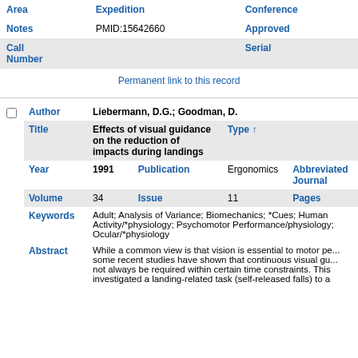| Area | Expedition | Conference |
| --- | --- | --- |
| Notes | PMID:15642660 | Approved |
| Call Number |  | Serial |
Permanent link to this record
| Author | Liebermann, D.G.; Goodman, D. |  |  |
| --- | --- | --- | --- |
| Title | Effects of visual guidance on the reduction of impacts during landings | Type ↑ |  |
| Year | 1991 | Publication | Ergonomics | Abbreviated Journal |  |
| Volume | 34 | Issue | 11 | Pages |  |
| Keywords | Adult; Analysis of Variance; Biomechanics; *Cues; Human Activity/*physiology; Psychomotor Performance/physiology; Ocular/*physiology |  |  |
| Abstract | While a common view is that vision is essential to motor performance, some recent studies have shown that continuous visual guidance may not always be required within certain time constraints. This study investigated a landing-related task (self-released falls) to a... |  |  |